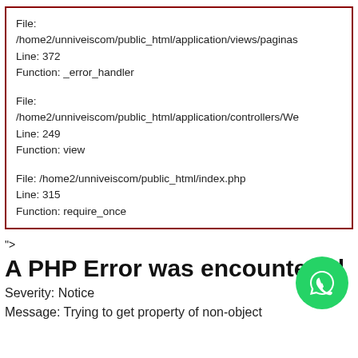File: /home2/unniveiscom/public_html/application/views/paginas
Line: 372
Function: _error_handler

File: /home2/unniveiscom/public_html/application/controllers/We
Line: 249
Function: view

File: /home2/unniveiscom/public_html/index.php
Line: 315
Function: require_once
">
A PHP Error was encountered
Severity: Notice
Message: Trying to get property of non-object